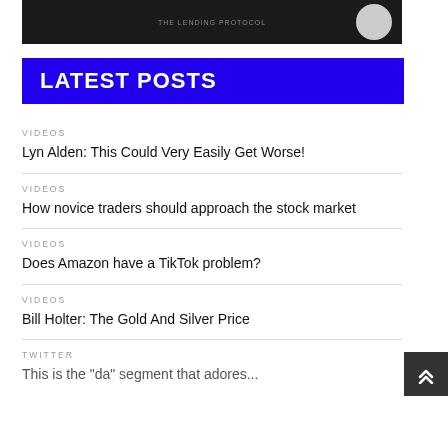[Figure (photo): Dark banner image with text and a person's face on the right side]
LATEST POSTS
VIDEOS
Lyn Alden: This Could Very Easily Get Worse!
VIDEOS
How novice traders should approach the stock market
VIDEOS
Does Amazon have a TikTok problem?
VIDEOS
Bill Holter: The Gold And Silver Price
TWITTER
This is the "da" segment thatadores...